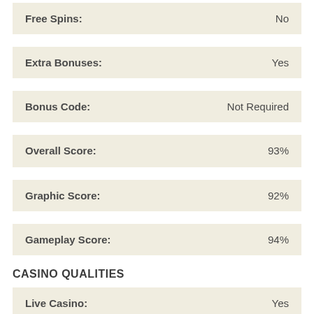| Field | Value |
| --- | --- |
| Free Spins: | No |
| Extra Bonuses: | Yes |
| Bonus Code: | Not Required |
| Overall Score: | 93% |
| Graphic Score: | 92% |
| Gameplay Score: | 94% |
CASINO QUALITIES
| Field | Value |
| --- | --- |
| Live Casino: | Yes |